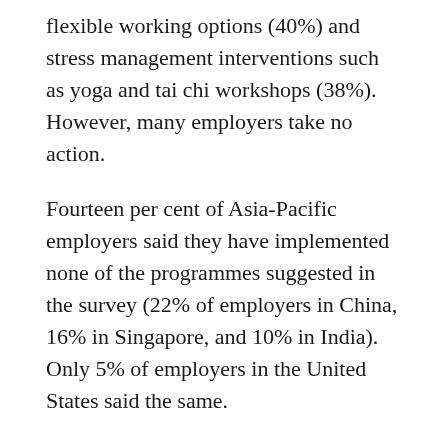flexible working options (40%) and stress management interventions such as yoga and tai chi workshops (38%). However, many employers take no action.
Fourteen per cent of Asia-Pacific employers said they have implemented none of the programmes suggested in the survey (22% of employers in China, 16% in Singapore, and 10% in India). Only 5% of employers in the United States said the same.
The 2013/2014 Towers Watson Staying@Work Survey was completed between May and July 2013 in North America, Latin America, Europe and Asia by a total of 892 employers. In Asia, the survey had 372 respondents from China, India, Hong Kong, Malaysia, the Philippines, and Singapore.